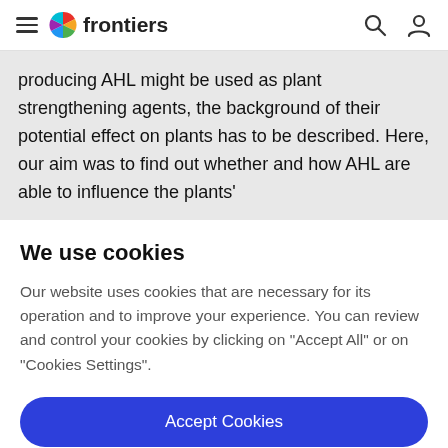frontiers
producing AHL might be used as plant strengthening agents, the background of their potential effect on plants has to be described. Here, our aim was to find out whether and how AHL are able to influence the plants'
We use cookies
Our website uses cookies that are necessary for its operation and to improve your experience. You can review and control your cookies by clicking on "Accept All" or on "Cookies Settings".
Accept Cookies
Cookies Settings